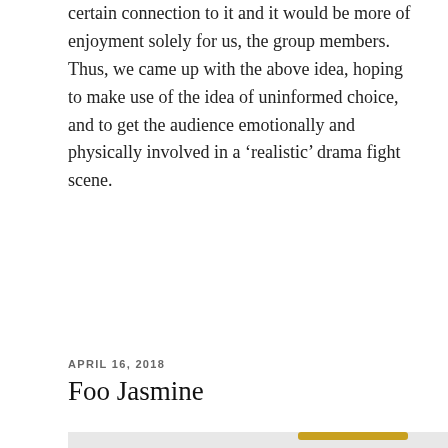certain connection to it and it would be more of enjoyment solely for us, the group members. Thus, we came up with the above idea, hoping to make use of the idea of uninformed choice, and to get the audience emotionally and physically involved in a 'realistic' drama fight scene.
APRIL 16, 2018
Foo Jasmine
[Figure (photo): A colorful children's playground structure featuring blue, red, and yellow-gold colored equipment including tunnels, arches, and climbing structures. Chinese characters are overlaid on the upper left portion of the image against a light purple/lavender background.]